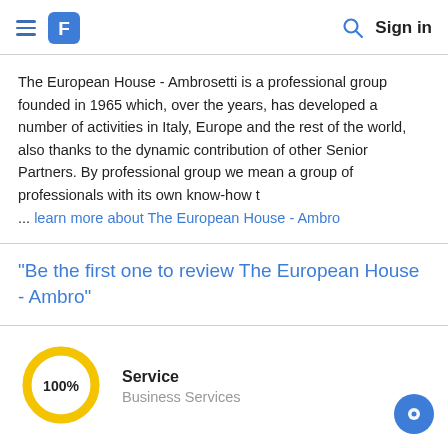≡ [logo] [search] Sign in
The European House - Ambrosetti is a professional group founded in 1965 which, over the years, has developed a number of activities in Italy, Europe and the rest of the world, also thanks to the dynamic contribution of other Senior Partners. By professional group we mean a group of professionals with its own know-how t ... learn more about The European House - Ambro
"Be the first one to review The European House - Ambro"
[Figure (donut-chart): Donut chart showing 100% with yellow ring]
Service
Business Services